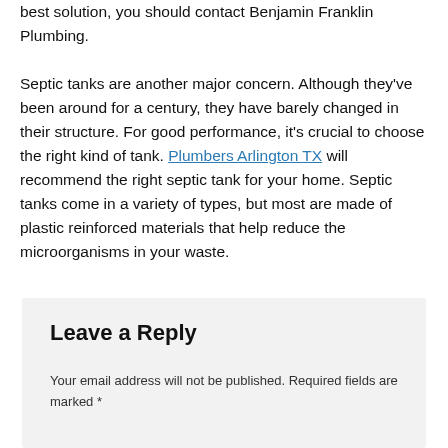best solution, you should contact Benjamin Franklin Plumbing.
Septic tanks are another major concern. Although they've been around for a century, they have barely changed in their structure. For good performance, it's crucial to choose the right kind of tank. Plumbers Arlington TX will recommend the right septic tank for your home. Septic tanks come in a variety of types, but most are made of plastic reinforced materials that help reduce the microorganisms in your waste.
Leave a Reply
Your email address will not be published. Required fields are marked *